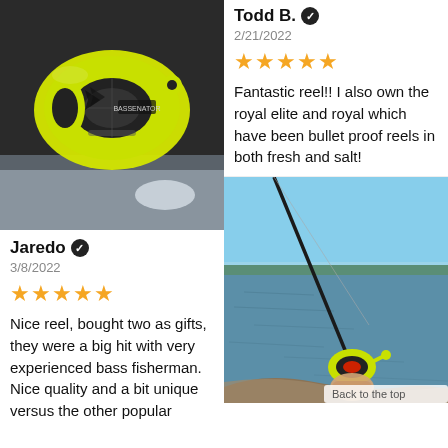[Figure (photo): Yellow fishing reel (Kastmaster/Bassenator branded) photographed from above on a table surface]
Jaredo ✓
3/8/2022
★★★★★
Nice reel, bought two as gifts, they were a big hit with very experienced bass fisherman. Nice quality and a bit unique versus the other popular
Todd B. ✓
2/21/2022
★★★★★
Fantastic reel!! I also own the royal elite and royal which have been bullet proof reels in both fresh and salt!
[Figure (photo): Person holding a yellow fishing reel on a rod at the edge of a lake/reservoir, with blue sky and calm water in background]
Back to the top